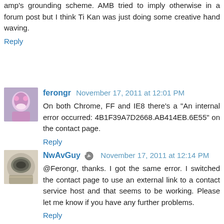amp's grounding scheme. AMB tried to imply otherwise in a forum post but I think Ti Kan was just doing some creative hand waving.
Reply
ferongr  November 17, 2011 at 12:01 PM
On both Chrome, FF and IE8 there's a "An internal error occurred: 4B1F39A7D2668.AB414EB.6E55" on the contact page.
Reply
NwAvGuy  November 17, 2011 at 12:14 PM
@Ferongr, thanks. I got the same error. I switched the contact page to use an external link to a contact service host and that seems to be working. Please let me know if you have any further problems.
Reply